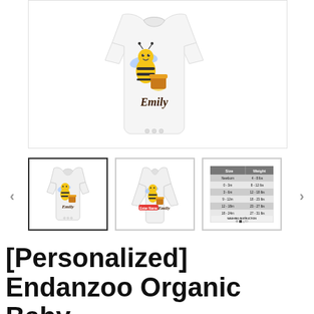[Figure (photo): Large main product image showing a white baby onesie with a bee and honey pot graphic and the name 'Emily' printed on it, displayed on a white background.]
[Figure (photo): Thumbnail 1 (selected): White short-sleeve baby onesie with bee graphic and 'Emily' text, bordered by dark square.]
[Figure (photo): Thumbnail 2: White long-sleeve baby onesie with bee graphic and 'Emily' text, with a red 'Enter Name' button overlay.]
[Figure (table-as-image): Thumbnail 3: Size chart showing Size and Weight columns with rows: Newborn 4-8 lbs, 0-3m 8-12 lbs, 3-6m 12-18 lbs, 6-12m 18-23 lbs, 12-18m 23-27 lbs, 18-24m 27-31 lbs, plus washing instruction icons.]
[Personalized] Endanzoo Organic Baby